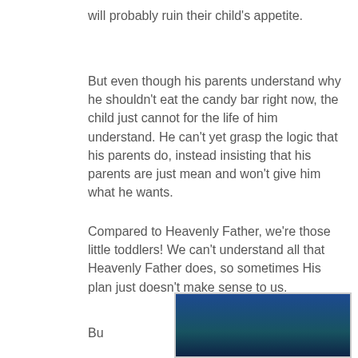will probably ruin their child’s appetite.
But even though his parents understand why he shouldn’t eat the candy bar right now, the child just cannot for the life of him understand. He can’t yet grasp the logic that his parents do, instead insisting that his parents are just mean and won’t give him what he wants.
Compared to Heavenly Father, we’re those little toddlers! We can’t understand all that Heavenly Father does, so sometimes His plan just doesn’t make sense to us.
Bu
[Figure (photo): Partial view of a photo with blue and green tones, appears to be an outdoor or nature scene.]